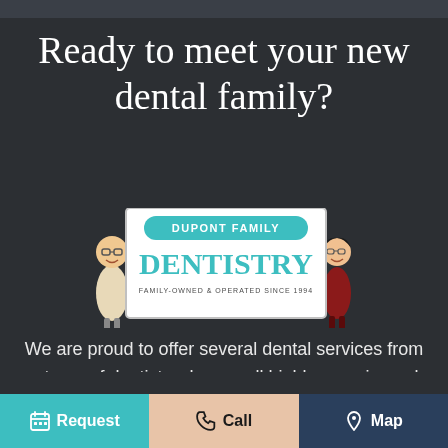Ready to meet your new dental family?
[Figure (logo): Dupont Family Dentistry logo with cartoon figures of a man and woman flanking a bordered box containing a teal 'DUPONT FAMILY' banner, large teal 'DENTISTRY' text, and subtitle 'FAMILY-OWNED & OPERATED SINCE 1994']
We are proud to offer several dental services from a team of dentists who are all highly experienced and dedicated to exceeding patient expectations at every turn. We will always treat you kindly and fairly
Request   Call   Map